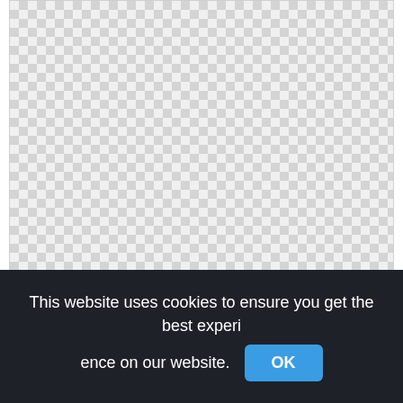[Figure (screenshot): A checkerboard transparency pattern representing a PNG image placeholder for 'Wild Oceans png' at 1602x776px]
Wild Oceans png
1602x776px
[Figure (screenshot): A second checkerboard transparency pattern, partially visible at the bottom of the content area]
This website uses cookies to ensure you get the best experience on our website.
OK